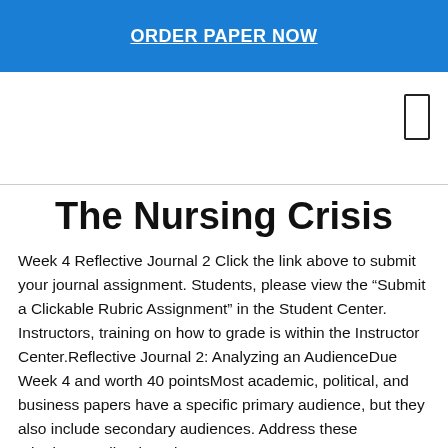ORDER PAPER NOW
The Nursing Crisis
Week 4 Reflective Journal 2 Click the link above to submit your journal assignment. Students, please view the “Submit a Clickable Rubric Assignment” in the Student Center.  Instructors, training on how to grade is within the Instructor Center.Reflective Journal 2: Analyzing an AudienceDue Week 4 and worth 40 pointsMost academic, political, and business papers have a specific primary audience, but they also include secondary audiences. Address these criteria:Describe the primary